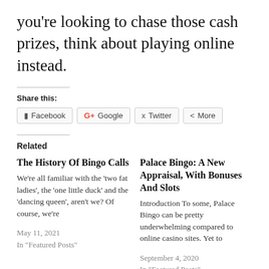you're looking to chase those cash prizes, think about playing online instead.
Share this:
Facebook  Google+  Twitter  More
Related
The History Of Bingo Calls
We're all familiar with the 'two fat ladies', the 'one little duck' and the 'dancing queen', aren't we? Of course, we're
May 11, 2021
In "Featured Posts"
Palace Bingo: A New Appraisal, With Bonuses And Slots
Introduction To some, Palace Bingo can be pretty underwhelming compared to online casino sites. Yet to
September 4, 2020
In "Featured Posts"